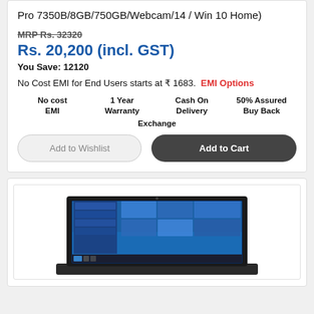Pro 7350B/8GB/750GB/Webcam/14 / Win 10 Home)
MRP Rs. 32320
Rs. 20,200 (incl. GST)
You Save: 12120
No Cost EMI for End Users starts at ₹ 1683.  EMI Options
No cost EMI   1 Year Warranty   Cash On Delivery   50% Assured Buy Back
Exchange
Add to Wishlist   Add to Cart
[Figure (photo): Laptop computer showing Windows 10 desktop on screen]